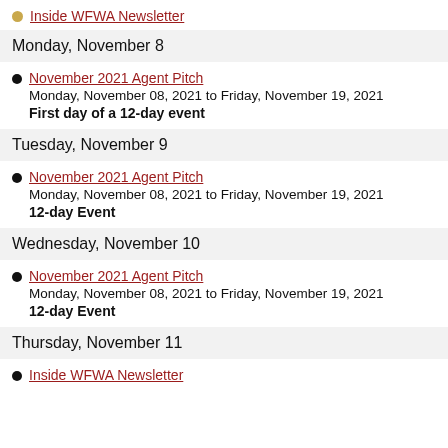Inside WFWA Newsletter
Monday, November 8
November 2021 Agent Pitch
Monday, November 08, 2021 to Friday, November 19, 2021
First day of a 12-day event
Tuesday, November 9
November 2021 Agent Pitch
Monday, November 08, 2021 to Friday, November 19, 2021
12-day Event
Wednesday, November 10
November 2021 Agent Pitch
Monday, November 08, 2021 to Friday, November 19, 2021
12-day Event
Thursday, November 11
Inside WFWA Newsletter